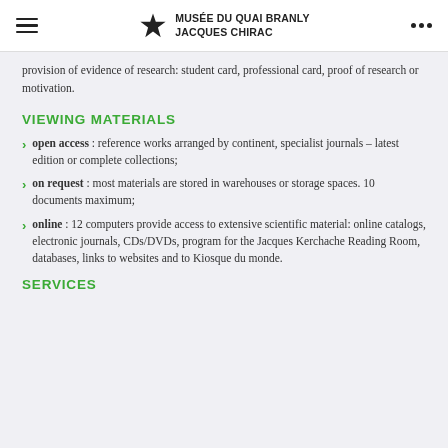Musée du Quai Branly Jacques Chirac
provision of evidence of research: student card, professional card, proof of research or motivation.
VIEWING MATERIALS
open access : reference works arranged by continent, specialist journals – latest edition or complete collections;
on request : most materials are stored in warehouses or storage spaces. 10 documents maximum;
online : 12 computers provide access to extensive scientific material: online catalogs, electronic journals, CDs/DVDs, program for the Jacques Kerchache Reading Room, databases, links to websites and to Kiosque du monde.
SERVICES